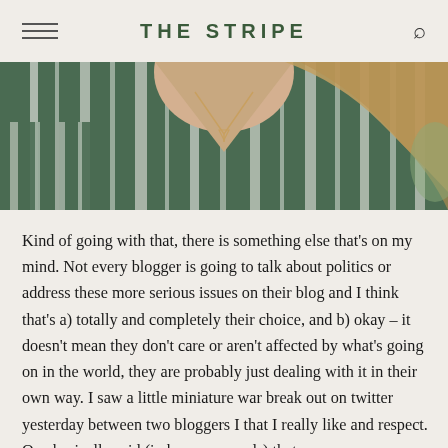THE STRIPE
[Figure (photo): Close-up photo of a woman wearing a dark green and white striped outfit with a V-neck necklace, long blonde hair visible]
Kind of going with that, there is something else that's on my mind. Not every blogger is going to talk about politics or address these more serious issues on their blog and I think that's a) totally and completely their choice, and b) okay – it doesn't mean they don't care or aren't affected by what's going on in the world, they are probably just dealing with it in their own way. I saw a little miniature war break out on twitter yesterday between two bloggers I that I really like and respect. One basically said (in her own words) that no one should be posting outfits and fashion-y stuff...